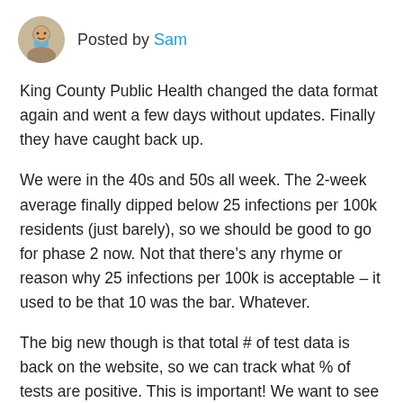Posted by Sam
King County Public Health changed the data format again and went a few days without updates. Finally they have caught back up.
We were in the 40s and 50s all week. The 2-week average finally dipped below 25 infections per 100k residents (just barely), so we should be good to go for phase 2 now. Not that there’s any rhyme or reason why 25 infections per 100k is acceptable – it used to be that 10 was the bar. Whatever.
The big new though is that total # of test data is back on the website, so we can track what % of tests are positive. This is important! We want to see the %